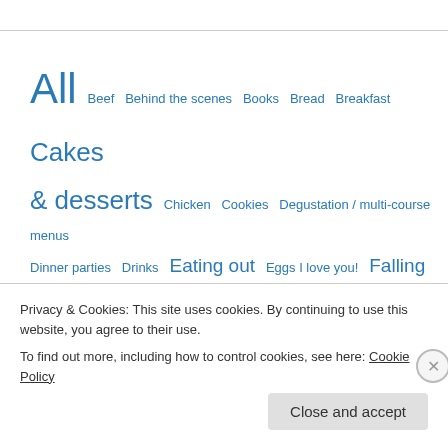All  Beef  Behind the scenes  Books  Bread  Breakfast  Cakes & desserts  Chicken  Cookies  Degustation / multi-course menus  Dinner parties  Drinks  Eating out  Eggs I love you!  Falling Cloudberries  Fish & seafood  Foodie events  Food sociology  Giveaways  Hands-on  Home & Family  Impromptu  inspiring  Jams, dips & chutneys  Lamb  Muffins & cupcakes  My chef friends  Oops  P  Pasta  Pork  Products  Recipes included  Soups  Summer
Privacy & Cookies: This site uses cookies. By continuing to use this website, you agree to their use.
To find out more, including how to control cookies, see here: Cookie Policy
Close and accept